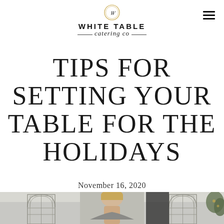[Figure (logo): White Table Catering Co. logo with circular emblem at top, bold sans-serif company name, and italic script tagline]
TIPS FOR SETTING YOUR TABLE FOR THE HOLIDAYS
November 16, 2020
[Figure (photo): Bottom portion of a photo showing a person with blonde hair standing between two arched window-style frames with holiday greenery decoration]